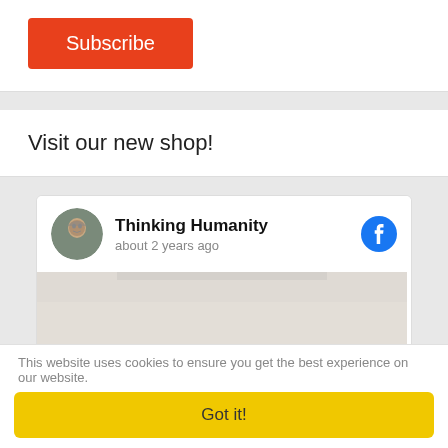[Figure (other): Orange Subscribe button]
Visit our new shop!
[Figure (other): Social media card for Thinking Humanity with profile photo (Einstein), Facebook icon, timestamp 'about 2 years ago', and a t-shirt image with text HEY, YOU DROPPED THIS]
This website uses cookies to ensure you get the best experience on our website.
Got it!